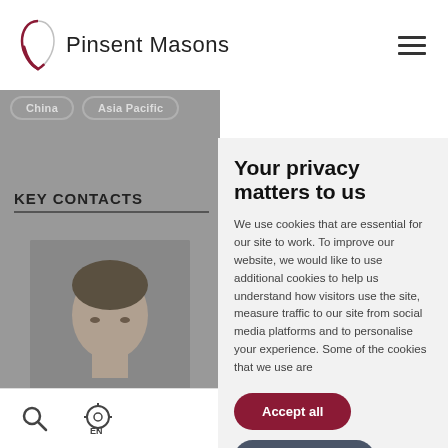Pinsent Masons
China   Asia Pacific
KEY CONTACTS
[Figure (photo): Partial photo of a person's face in the left panel, greyed out]
Your privacy matters to us
We use cookies that are essential for our site to work.  To improve our website, we would like to use additional cookies to help us understand how visitors use the site, measure traffic to our site from social media platforms and to personalise your experience.  Some of the cookies that we use are
Accept all
Cookie settings